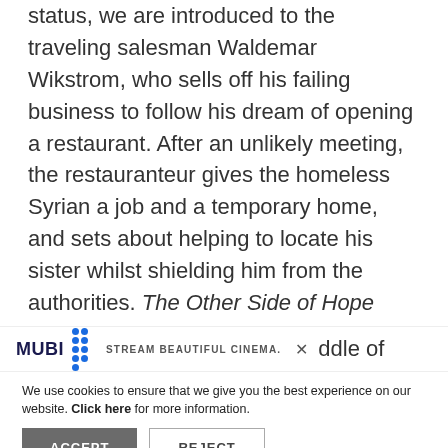status, we are introduced to the traveling salesman Waldemar Wikstrom, who sells off his failing business to follow his dream of opening a restaurant. After an unlikely meeting, the restauranteur gives the homeless Syrian a job and a temporary home, and sets about helping to locate his sister whilst shielding him from the authorities. The Other Side of Hope features Kaurismäki's longest piece of continuous dialogue, as Khaled recounts the tragedies that have led him to Finland. This is
[Figure (screenshot): MUBI banner advertisement: MUBI logo with blue dot grid, text 'STREAM BEAUTIFUL CINEMA.' and X close button, partially obscuring text 'ddle of']
We use cookies to ensure that we give you the best experience on our website. Click here for more information.
ACCEPT   REJECT